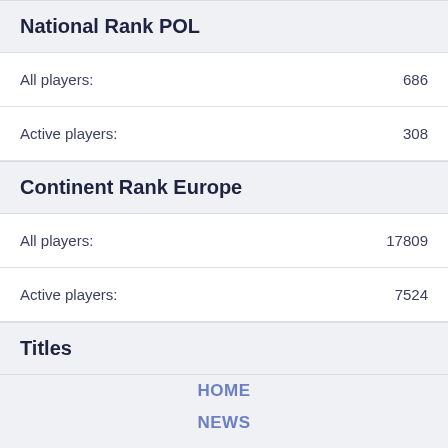National Rank POL
All players: 686
Active players: 308
Continent Rank Europe
All players: 17809
Active players: 7524
Titles
HOME
NEWS
RATINGS